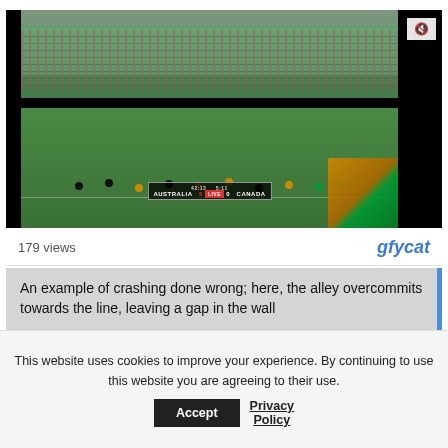[Figure (screenshot): A video screenshot of an ultimate frisbee match showing Australia vs Canada on a grass field with stands full of spectators and a scoreboard overlay. A mute button is visible in the top-right corner of the video player.]
179 views
gfycat
An example of crashing done wrong; here, the alley overcommits towards the line, leaving a gap in the wall
This website uses cookies to improve your experience. By continuing to use this website you are agreeing to their use.
Accept
Privacy Policy